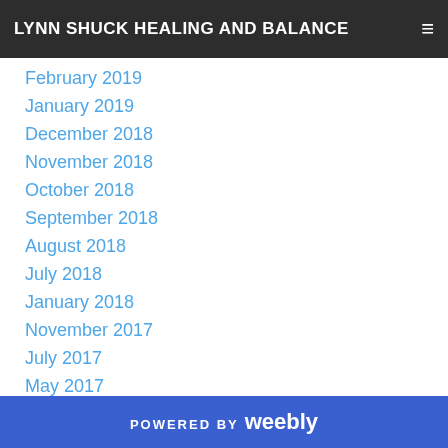LYNN SHUCK HEALING AND BALANCE
February 2019
January 2019
December 2018
November 2018
October 2018
September 2018
August 2018
July 2018
January 2018
November 2017
July 2017
May 2017
February 2017
September 2014
June 2014
POWERED BY weebly